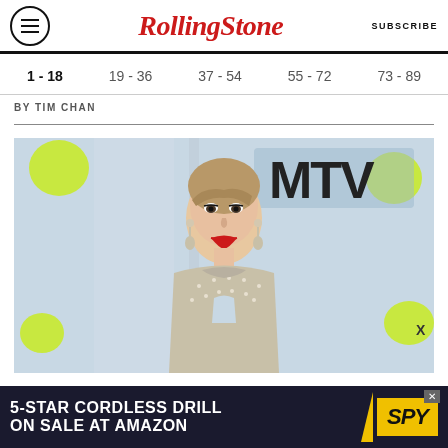Rolling Stone | SUBSCRIBE
1 - 18  |  19 - 36  |  37 - 54  |  55 - 72  |  73 - 89
BY TIM CHAN
[Figure (photo): Taylor Swift posing at the MTV VMAs red carpet, wearing a crystal/rhinestone embellished halter gown, with blonde hair in an updo with bangs, red lips, and drop earrings. Background shows MTV VMA step-and-repeat banner with yellow and blue decorations.]
5-STAR CORDLESS DRILL ON SALE AT AMAZON | SPY